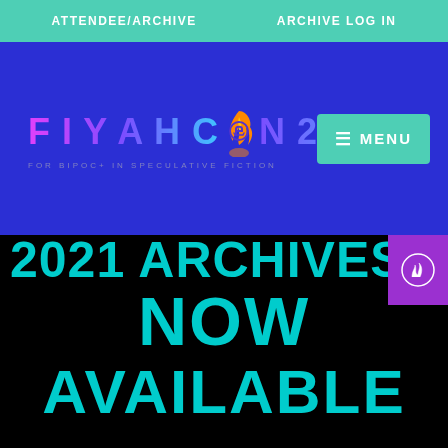ATTENDEE/ARCHIVE   ARCHIVE LOG IN
[Figure (logo): FiyahCon 2021 logo with flame and fist icon, subtitle: FOR BIPOC+ IN SPECULATIVE FICTION]
≡ MENU
2021 ARCHIVES
NOW
AVAILABLE